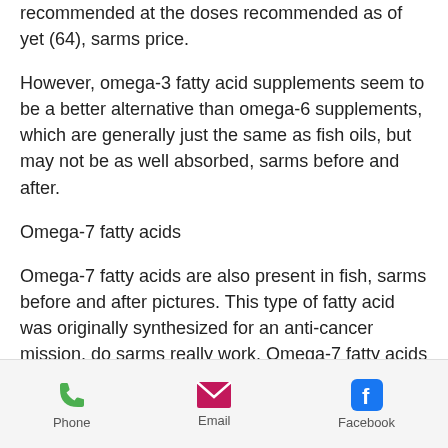recommended at the doses recommended as of yet (64), sarms price.
However, omega-3 fatty acid supplements seem to be a better alternative than omega-6 supplements, which are generally just the same as fish oils, but may not be as well absorbed, sarms before and after.
Omega-7 fatty acids
Omega-7 fatty acids are also present in fish, sarms before and after pictures. This type of fatty acid was originally synthesized for an anti-cancer mission, do sarms really work. Omega-7 fatty acids are associated with decreased inflammation (64) and appear to increase the production of muscle and strength (65).
Phone   Email   Facebook